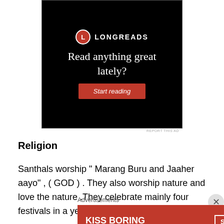[Figure (screenshot): Longreads advertisement with black background. Shows the Longreads logo (L in red circle), text 'Read anything great lately?' and a red 'Start reading' button.]
REPORT THIS AD
Religion
Santhals worship  " Marang Buru and Jaaher aayo" , ( GOD ) . They also worship  nature and love the nature .They celebrate mainly four festivals in a year , Saakraat ,
Advertisements
[Figure (screenshot): Macy's advertisement with red background showing 'KISS BORING LIPS GOODBYE' text and 'SHOP NOW' button with Macy's star logo.]